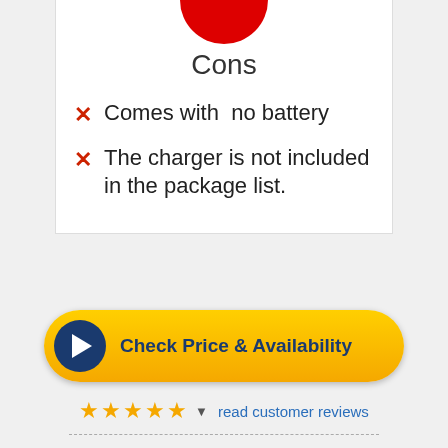[Figure (illustration): Red circle partially visible at top of white card]
Cons
Comes with no battery
The charger is not included in the package list.
[Figure (other): Yellow rounded button with dark blue play circle icon and text 'Check Price & Availability']
★★★★★ ▼ read customer reviews